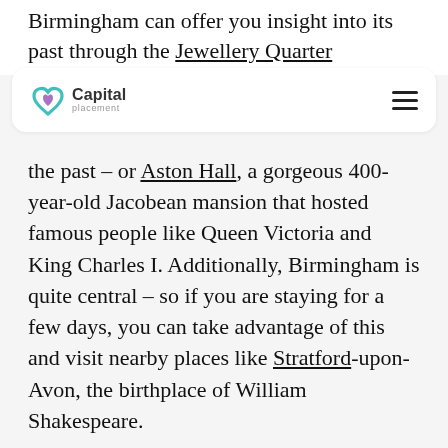Birmingham can offer you insight into its past through the Jewellery Quarter
[Figure (logo): Capital Placement logo with teal/purple heart icon and company name]
the past – or Aston Hall, a gorgeous 400-year-old Jacobean mansion that hosted famous people like Queen Victoria and King Charles I. Additionally, Birmingham is quite central – so if you are staying for a few days, you can take advantage of this and visit nearby places like Stratford-upon-Avon, the birthplace of William Shakespeare.